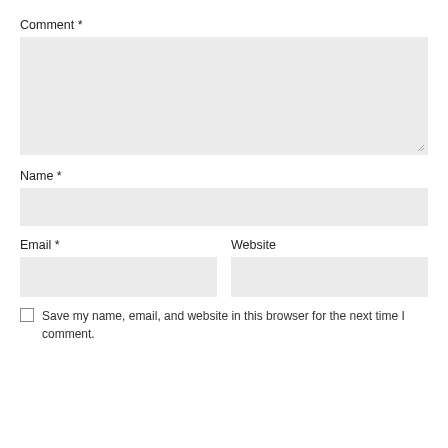Comment *
[Figure (screenshot): Large empty textarea input field with light gray background and resize handle in bottom-right corner]
Name *
[Figure (screenshot): Single-line text input field with light gray background]
Email *
[Figure (screenshot): Single-line email input field with light gray background, half width]
Website
[Figure (screenshot): Single-line website input field with light gray background, half width]
Save my name, email, and website in this browser for the next time I comment.